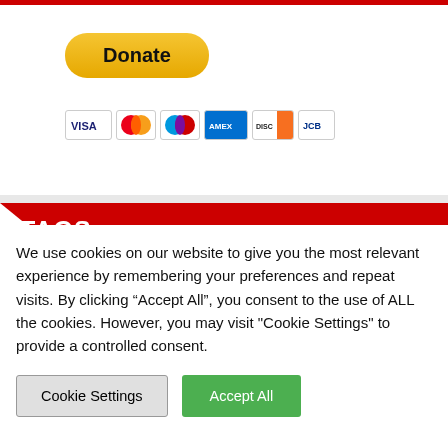[Figure (other): PayPal Donate button with payment card icons (Visa, Mastercard, Maestro, American Express, Discover, JCB)]
TAGS
1gov (8985)
Anticapitalist (8985)
Antifascist (8985)
Badjourno (8985)
Fuckthetories (8985)
We use cookies on our website to give you the most relevant experience by remembering your preferences and repeat visits. By clicking “Accept All”, you consent to the use of ALL the cookies. However, you may visit "Cookie Settings" to provide a controlled consent.
Cookie Settings
Accept All